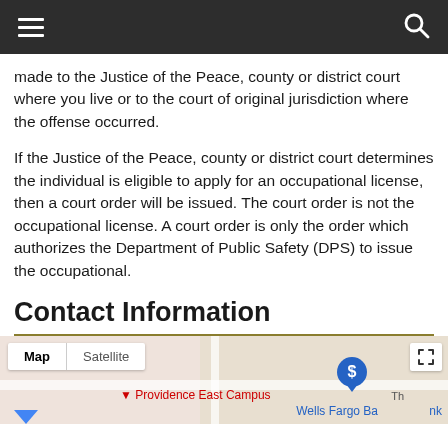Navigation menu and search bar
made to the Justice of the Peace, county or district court where you live or to the court of original jurisdiction where the offense occurred.
If the Justice of the Peace, county or district court determines the individual is eligible to apply for an occupational license, then a court order will be issued. The court order is not the occupational license. A court order is only the order which authorizes the Department of Public Safety (DPS) to issue the occupational.
Contact Information
[Figure (map): Google Maps widget showing Map/Satellite toggle tabs, a Wells Fargo Bank pin, Providence East Campus label, and map expand button]